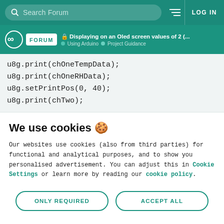Search Forum | LOG IN
Arduino FORUM | Displaying on an Oled screen values of 2 (... | Using Arduino > Project Guidance
u8g.print(chOneTempData);
u8g.print(chOneRHData);
u8g.setPrintPos(0, 40);
u8g.print(chTwo);
We use cookies 🍪
Our websites use cookies (also from third parties) for functional and analytical purposes, and to show you personalised advertisement. You can adjust this in Cookie Settings or learn more by reading our cookie policy.
ONLY REQUIRED | ACCEPT ALL